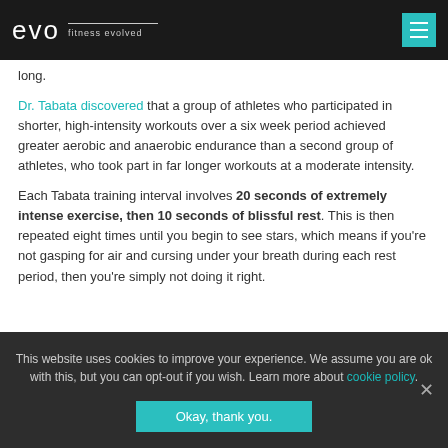evo fitness evolved
long.
Dr. Tabata discovered that a group of athletes who participated in shorter, high-intensity workouts over a six week period achieved greater aerobic and anaerobic endurance than a second group of athletes, who took part in far longer workouts at a moderate intensity.
Each Tabata training interval involves 20 seconds of extremely intense exercise, then 10 seconds of blissful rest. This is then repeated eight times until you begin to see stars, which means if you're not gasping for air and cursing under your breath during each rest period, then you're simply not doing it right.
This website uses cookies to improve your experience. We assume you are ok with this, but you can opt-out if you wish. Learn more about cookie policy.